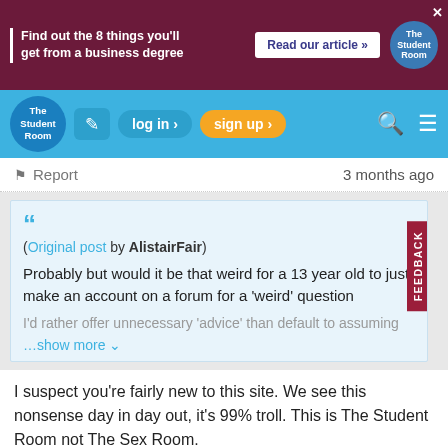[Figure (screenshot): Ad banner: 'Find out the 8 things you'll get from a business degree' with 'Read our article »' button and The Student Room logo]
[Figure (screenshot): The Student Room navigation bar with logo, edit icon, log in button, sign up button, search icon, and menu icon]
Report   3 months ago
(Original post by AlistairFair)
Probably but would it be that weird for a 13 year old to just make an account on a forum for a 'weird' question

I'd rather offer unnecessary 'advice' than default to assuming
…show more
I suspect you're fairly new to this site. We see this nonsense day in day out, it's 99% troll. This is The Student Room not The Sex Room.
Last edited by Son of the Sea; 3 months ago